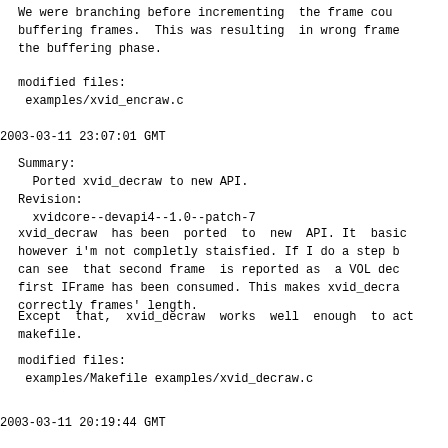We were branching before incrementing  the frame cou
buffering frames.  This was resulting  in wrong frame
the buffering phase.
modified files:
 examples/xvid_encraw.c
2003-03-11 23:07:01 GMT
Summary:
  Ported xvid_decraw to new API.
Revision:
  xvidcore--devapi4--1.0--patch-7
xvid_decraw  has been  ported  to  new  API. It  basic
however i'm not completly staisfied. If I do a step b
can see  that second frame  is reported as  a VOL dec
first IFrame has been consumed. This makes xvid_decra
correctly frames' length.
Except  that,  xvid_decraw  works  well  enough  to act
makefile.
modified files:
 examples/Makefile examples/xvid_decraw.c
2003-03-11 20:19:44 GMT